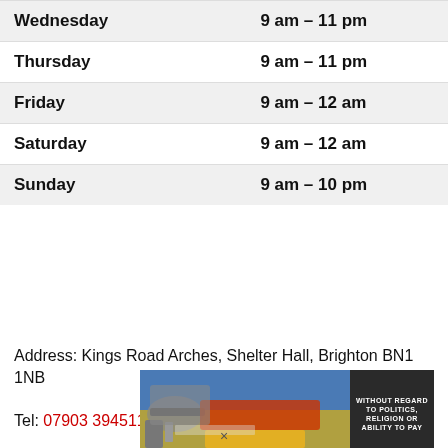| Day | Hours |
| --- | --- |
| Wednesday | 9 am – 11 pm |
| Thursday | 9 am – 11 pm |
| Friday | 9 am – 12 am |
| Saturday | 9 am – 12 am |
| Sunday | 9 am – 10 pm |
Address: Kings Road Arches, Shelter Hall, Brighton BN1 1NB
Tel: 07903 394511
[Figure (photo): Advertisement banner showing an airplane being loaded with cargo, with text 'WITHOUT REGARD TO POLITICS, RELIGION OR ABILITY TO PAY' on the right side]